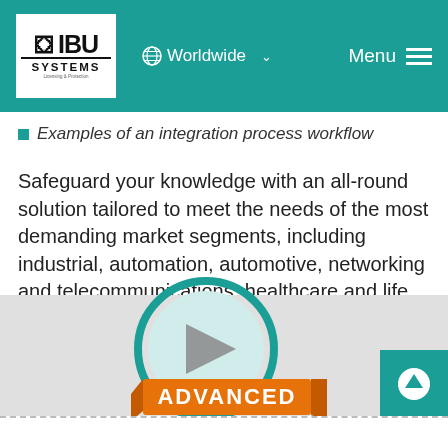WIBU SYSTEMS — Worldwide | Menu
Examples of an integration process workflow
Safeguard your knowledge with an all-round solution tailored to meet the needs of the most demanding market segments, including industrial, automation, automotive, networking and telecommunications, healthcare and life science, and defense.
[Figure (illustration): A circular video play button with teal ring and gray play icon, overlaid with an orange ribbon banner reading ADVANCED]